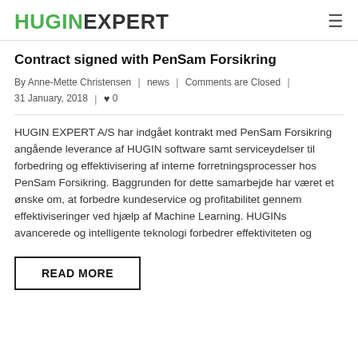HUGINEXPERT
Contract signed with PenSam Forsikring
By Anne-Mette Christensen  |  news  |  Comments are Closed  |  31 January, 2018  |  ♥ 0
HUGIN EXPERT A/S har indgået kontrakt med PenSam Forsikring angående leverance af HUGIN software samt serviceydelser til forbedring og effektivisering af interne forretningsprocesser hos PenSam Forsikring. Baggrunden for dette samarbejde har været et ønske om, at forbedre kundeservice og profitabilitet gennem effektiviseringer ved hjælp af Machine Learning. HUGINs avancerede og intelligente teknologi forbedrer effektiviteten og
READ MORE